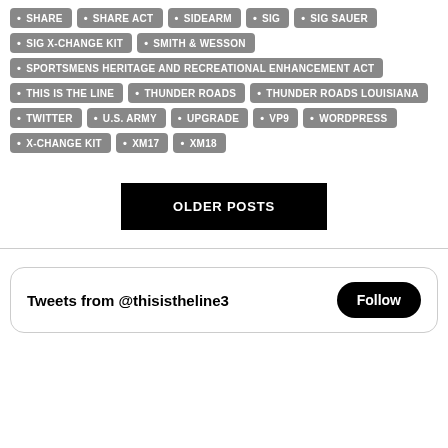SHARE
SHARE ACT
SIDEARM
SIG
SIG SAUER
SIG X-CHANGE KIT
SMITH & WESSON
SPORTSMENS HERITAGE AND RECREATIONAL ENHANCEMENT ACT
THIS IS THE LINE
THUNDER ROADS
THUNDER ROADS LOUISIANA
TWITTER
U.S. ARMY
UPGRADE
VP9
WORDPRESS
X-CHANGE KIT
XM17
XM18
OLDER POSTS
Tweets from @thisistheline3
Follow